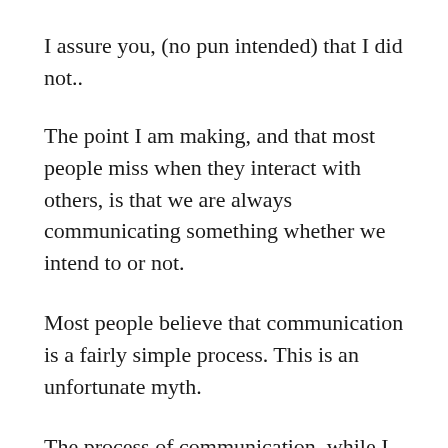I assure you, (no pun intended) that I did not..
The point I am making, and that most people miss when they interact with others, is that we are always communicating something whether we intend to or not.
Most people believe that communication is a fairly simple process. This is an unfortunate myth.
The process of communication, while I admittedly am simplifying the process, can be illustrated with two examples.
Example #1: Think back to the last one of the…